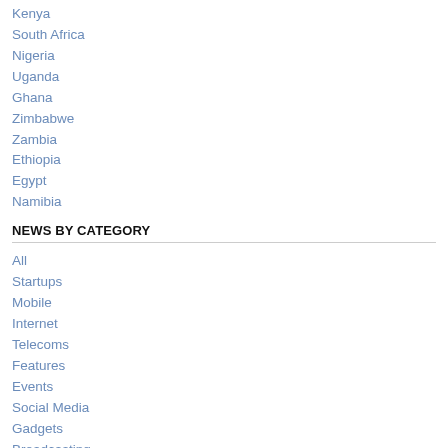Kenya
South Africa
Nigeria
Uganda
Ghana
Zimbabwe
Zambia
Ethiopia
Egypt
Namibia
NEWS BY CATEGORY
All
Startups
Mobile
Internet
Telecoms
Features
Events
Social Media
Gadgets
Broadcasting
Policy